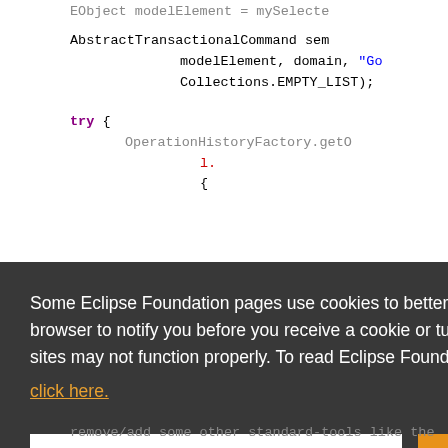[Figure (screenshot): Code editor showing Java code with AbstractTransactionalCommand, modelElement, domain, Collections.EMPTY_LIST, try block, and OperationHistoryFactory]
Some Eclipse Foundation pages use cookies to better serve you when you return to the site. You can set your browser to notify you before you receive a cookie or turn off cookies. If you do so, however, some areas of some sites may not function properly. To read Eclipse Foundation Privacy Policy click here.
remove/add some other standard-tools like the